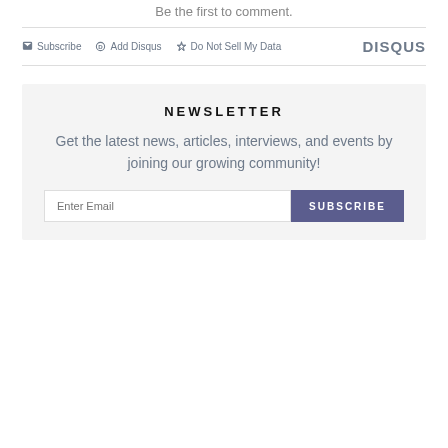Be the first to comment.
Subscribe  Add Disqus  Do Not Sell My Data  DISQUS
NEWSLETTER
Get the latest news, articles, interviews, and events by joining our growing community!
Enter Email  SUBSCRIBE